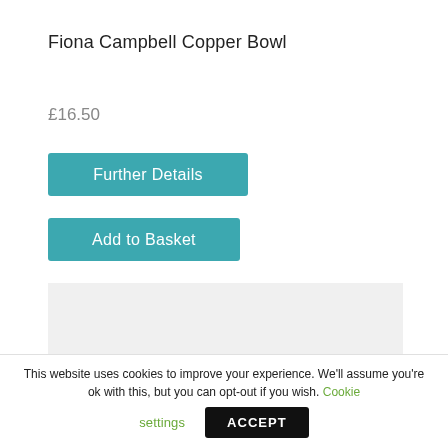Fiona Campbell Copper Bowl
£16.50
Further Details
Add to Basket
[Figure (other): Grey placeholder/image box]
This website uses cookies to improve your experience. We'll assume you're ok with this, but you can opt-out if you wish. Cookie settings ACCEPT